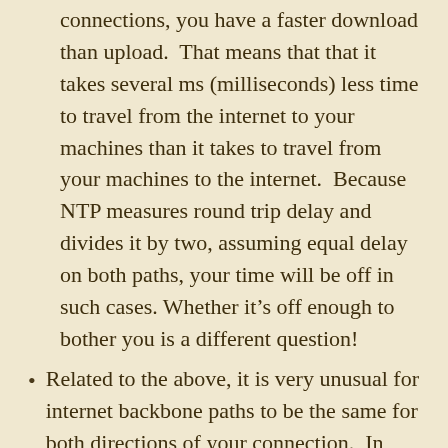connections, you have a faster download than upload.  That means that that it takes several ms (milliseconds) less time to travel from the internet to your machines than it takes to travel from your machines to the internet.  Because NTP measures round trip delay and divides it by two, assuming equal delay on both paths, your time will be off in such cases. Whether it's off enough to bother you is a different question!
Related to the above, it is very unusual for internet backbone paths to be the same for both directions of your connection.  In fact, this is more common than not. This causes issues with NTP.
During network congestion (whether it's a peering point, a congested NTP server, or